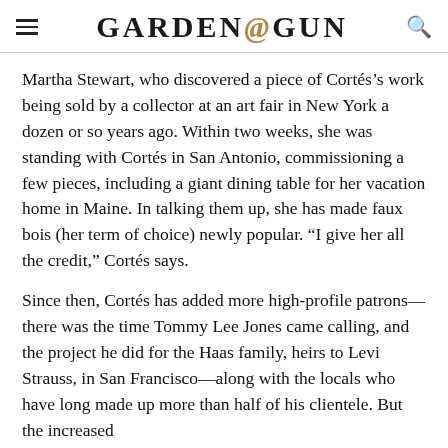GARDEN&GUN
Martha Stewart, who discovered a piece of Cortés’s work being sold by a collector at an art fair in New York a dozen or so years ago. Within two weeks, she was standing with Cortés in San Antonio, commissioning a few pieces, including a giant dining table for her vacation home in Maine. In talking them up, she has made faux bois (her term of choice) newly popular. “I give her all the credit,” Cortés says.
Since then, Cortés has added more high-profile patrons—there was the time Tommy Lee Jones came calling, and the project he did for the Haas family, heirs to Levi Strauss, in San Francisco—along with the locals who have long made up more than half of his clientele. But the increased